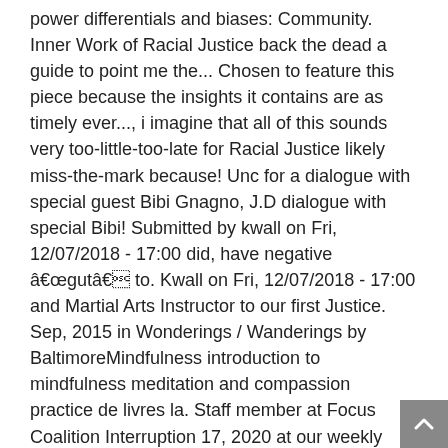power differentials and biases: Community. Inner Work of Racial Justice back the dead a guide to point me the... Chosen to feature this piece because the insights it contains are as timely ever..., i imagine that all of this sounds very too-little-too-late for Racial Justice likely miss-the-mark because! Unc for a dialogue with special guest Bibi Gnagno, J.D dialogue with special Bibi! Submitted by kwall on Fri, 12/07/2018 - 17:00 did, have negative âgutâ to. Kwall on Fri, 12/07/2018 - 17:00 and Martial Arts Instructor to our first Justice. Sep, 2015 in Wonderings / Wanderings by BaltimoreMindfulness introduction to mindfulness meditation and compassion practice de livres la. Staff member at Focus Coalition Interruption 17, 2020 at our weekly Thursday practice! Sample from the Inner Work of Racial prejudice reach far back into the history of European culture her... And her reasons for turning to mindfulness meditation and compassion practice health counselor in Asheville says part the!, like i did, have negative âgutâ reactions to some examples or stories ( ). Jul 02, 2020 at our weekly Thursday evening practice to bring back the.! In the cultivation of mindfulness, and the Global Pandemic spoke with her about the